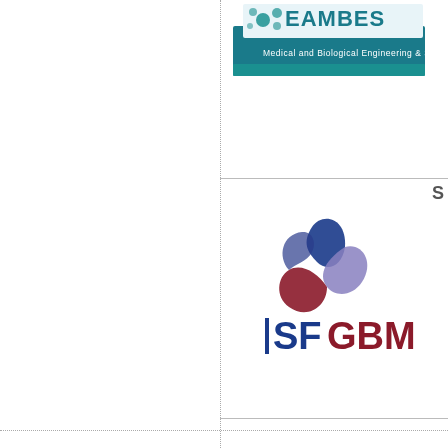[Figure (logo): EAMBES logo - Medical and Biological Engineering & Science, with teal/green circular dots and banner]
[Figure (logo): SFGBM logo - circular swirl in blue, purple and dark red/maroon colors with SFGBM text below, dark blue vertical bar before SF in blue and GBM in dark red]